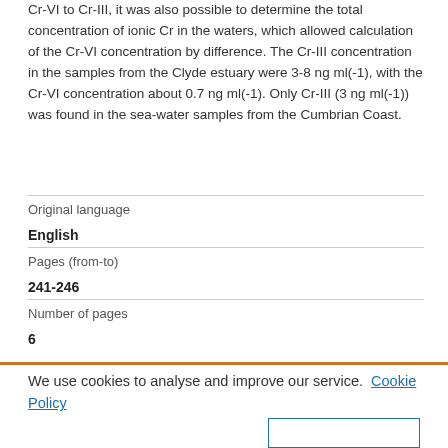Cr-VI to Cr-III, it was also possible to determine the total concentration of ionic Cr in the waters, which allowed calculation of the Cr-VI concentration by difference. The Cr-III concentration in the samples from the Clyde estuary were 3-8 ng ml(-1), with the Cr-VI concentration about 0.7 ng ml(-1). Only Cr-III (3 ng ml(-1)) was found in the sea-water samples from the Cumbrian Coast.
| Original language |  |
| English |  |
| Pages (from-to) |  |
| 241-246 |  |
| Number of pages |  |
| 6 |  |
We use cookies to analyse and improve our service. Cookie Policy